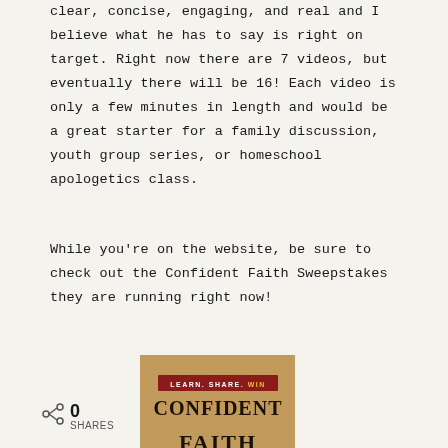clear, concise, engaging, and real and I believe what he has to say is right on target. Right now there are 7 videos, but eventually there will be 16! Each video is only a few minutes in length and would be a great starter for a family discussion, youth group series, or homeschool apologetics class.
While you're on the website, be sure to check out the Confident Faith Sweepstakes they are running right now!
[Figure (photo): Partial image of a book or promotional material titled 'CONFIDENT FAITH' with text 'LEARN. SHARE. WIN.' on a dark red banner, against a parchment/aged background. The bottom of the image is cut off showing partial text 'FAITH'.]
0 SHARES